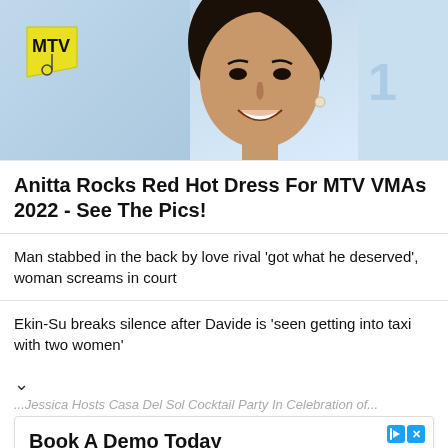[Figure (photo): Woman posing at MTV VMAs 2022 event, MTV logo visible on left, light blue backdrop]
Anitta Rocks Red Hot Dress For MTV VMAs 2022 - See The Pics!
Man stabbed in the back by love rival 'got what he deserved', woman screams in court
Ekin-Su breaks silence after Davide is 'seen getting into taxi with two women'
...Jessica Hosts Casa Del Sol Cocktail Party In Celebration of...
[Figure (screenshot): Advertisement banner: Book A Demo Today - Dedicated Support From Bankers Who Know Attorneys. Get Help With All Your Banking Needs. Nota / Open button]